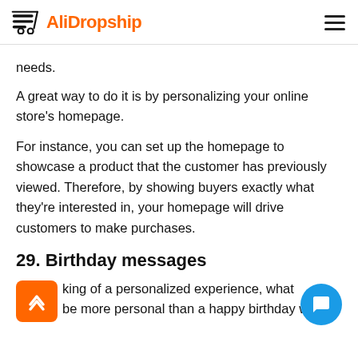AliDropship
needs.
A great way to do it is by personalizing your online store's homepage.
For instance, you can set up the homepage to showcase a product that the customer has previously viewed. Therefore, by showing buyers exactly what they're interested in, your homepage will drive customers to make purchases.
29. Birthday messages
king of a personalized experience, what be more personal than a happy birthday wish?